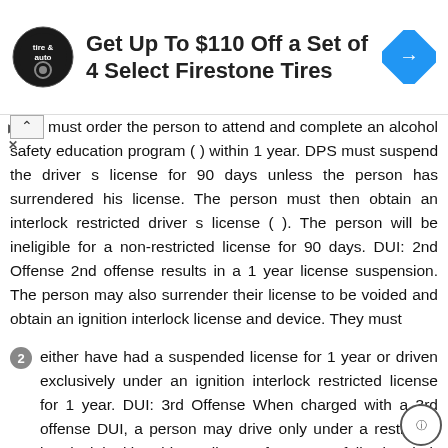[Figure (other): Advertisement banner: Firestone Tires - Get Up To $110 Off a Set of 4 Select Firestone Tires, with tire & auto logo and navigation arrow icon]
must order the person to attend and complete an alcohol safety education program ( ) within 1 year. DPS must suspend the driver s license for 90 days unless the person has surrendered his license. The person must then obtain an interlock restricted driver s license ( ). The person will be ineligible for a non-restricted license for 90 days. DUI: 2nd Offense 2nd offense results in a 1 year license suspension. The person may also surrender their license to be voided and obtain an ignition interlock license and device. They must
either have had a suspended license for 1 year or driven exclusively under an ignition interlock restricted license for 1 year. DUI: 3rd Offense When charged with a 3rd offense DUI, a person may drive only under a restricted interlock ignition driver s license for 3 years following their release from incarceration. The person will be ineligible for an unrestricted license for 3 years. *A